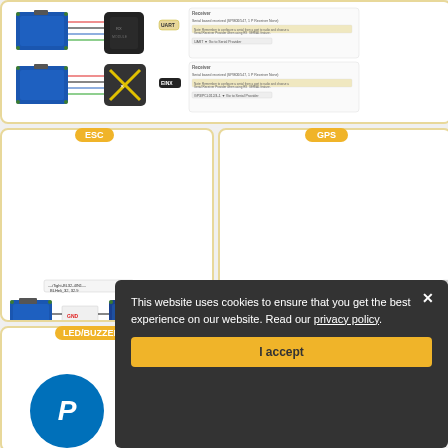[Figure (engineering-diagram): UART connection diagrams for flight controller with two configurations showing board wiring, configuration panels with serial input settings, and UART/EINX labels]
[Figure (engineering-diagram): ESC connection diagram showing flight controller board connected to ESC with labeled wires: GND, VBAT, M1, M2, M3, M4, CUR, R5, with BLHeli_32 firmware settings panel below]
[Figure (engineering-diagram): GPS connection diagram showing configuration table with serial port settings, flight controller board connected to GPS module, and configuration software screenshot]
[Figure (engineering-diagram): LED/BUZZER section showing WS2812 LED module wiring to flight controller]
This website uses cookies to ensure that you get the best experience on our website. Read our privacy policy.
I accept